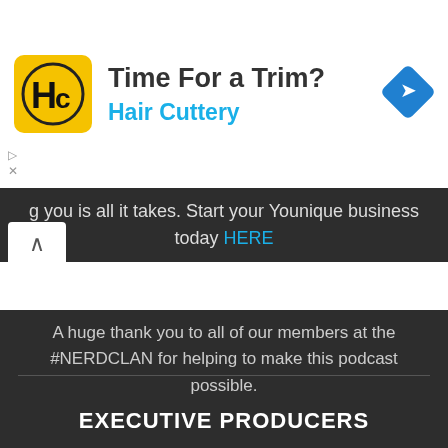[Figure (advertisement): Hair Cuttery ad banner with yellow logo showing 'HC', headline 'Time For a Trim?' and subtitle 'Hair Cuttery', with a blue navigation arrow icon on the right]
g you is all it takes. Start your Younique business today HERE
A huge thank you to all of our members at the #NERDCLAN for helping to make this podcast possible.
EXECUTIVE PRODUCERS